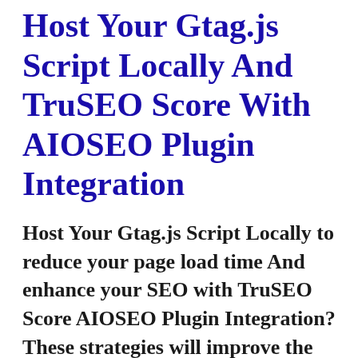Host Your Gtag.js Script Locally And TruSEO Score With AIOSEO Plugin Integration
Host Your Gtag.js Script Locally to reduce your page load time And enhance your SEO with TruSEO Score AIOSEO Plugin Integration? These strategies will improve the Google Search Results of your website? You can now do it all with the help of MonsterInsights Faster Script Loading and AIOSEO Plugin Integration.